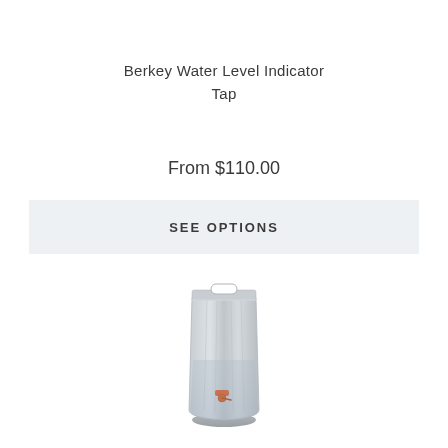Berkey Water Level Indicator Tap
From $110.00
SEE OPTIONS
[Figure (photo): A transparent collapsible water bag/dispenser with a small orange/copper spigot tap at the bottom front, and a handle cutout at the top. The bag appears partially filled with water and has vertical ribbed texture.]